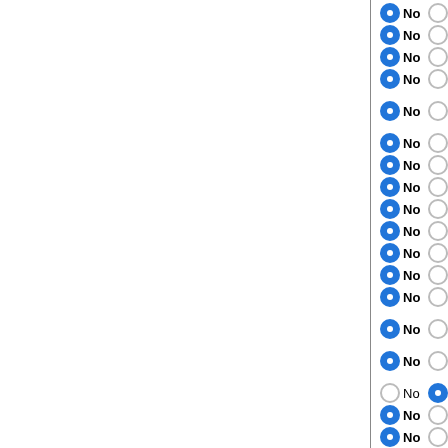No (selected) Yes — Oreochromis niloticus 76_1.0
No (selected) Yes — Astyanax mexicanus 76
No (selected) Yes — Danio rerio 76_9
No (selected) Yes — Oikopleura dioica
No (selected) Yes — Ciona savignyi 76_2.0
No (selected) Yes — Ciona intestinalis 76
No (selected) Yes — Strongylocentrotus purpuratu
No (selected) Yes — Adineta vaga
No (selected) Yes — Octopus bimaculoides 280
No (selected) Yes — Crassostrea gigas 22
No (selected) Yes — Lottia gigantea
No (selected) Yes — Helobdella robusta
No (selected) Yes — Capitella sp. I
No (selected) Yes — Danaus plexippus OGS1.0
No (selected) Yes — Heliconius melpomene
No Yes (selected) — Bombyx mori
No (selected) Yes — Nasonia vitripennis
No (selected) Yes — Apis mellifera 38.2d (Not ma
No (selected) Yes — Harpegnathos saltator v3.3